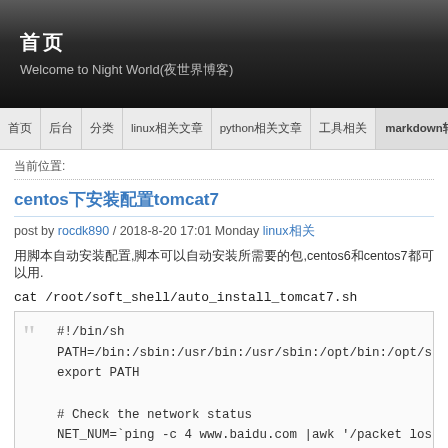首页
Welcome to Night World(夜世界博客)
首页 | 后台 | 分类 | linux相关文章 | python相关文章 | 工具相关 | markdown转成html | 关于 |
当前位置:
centos下安装配置tomcat7
post by rocdk890 / 2018-8-20 17:01 Monday linux相关
用脚本自动安装配置,脚本可以自动安装所需要的包,centos6和centos7都可以用.
cat /root/soft_shell/auto_install_tomcat7.sh
[Figure (screenshot): Shell script code block showing: #!/bin/sh, PATH=/bin:/sbin:/usr/bin:/usr/sbin:/opt/bin:/opt/sbin:, export PATH, # Check the network status, NET_NUM=`ping -c 4 www.baidu.com |awk '/packet loss/{p, if [ ...]